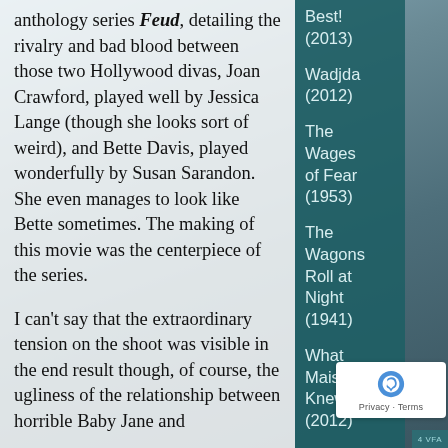anthology series Feud, detailing the rivalry and bad blood between those two Hollywood divas, Joan Crawford, played well by Jessica Lange (though she looks sort of weird), and Bette Davis, played wonderfully by Susan Sarandon. She even manages to look like Bette sometimes. The making of this movie was the centerpiece of the series.
I can't say that the extraordinary tension on the shoot was visible in the end result though, of course, the ugliness of the relationship between horrible Baby Jane and
Best! (2013)
Wadjda (2012)
The Wages of Fear (1953)
The Wagons Roll at Night (1941)
What Maisie Knew (2012)
Wait Until